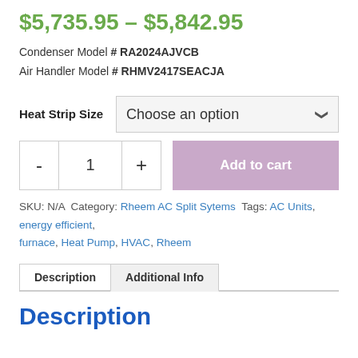$5,735.95 – $5,842.95
Condenser Model # RA2024AJVCB
Air Handler Model # RHMV2417SEACJA
Heat Strip Size  [Choose an option dropdown]
- 1 + Add to cart
SKU: N/A Category: Rheem AC Split Sytems Tags: AC Units, energy efficient, furnace, Heat Pump, HVAC, Rheem
Description | Additional Info [tabs]
Description